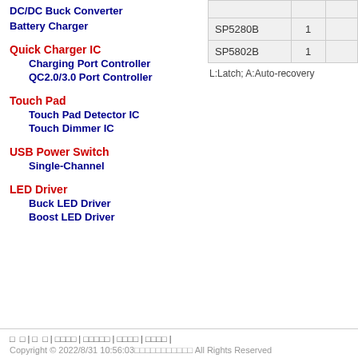DC/DC Buck Converter
Battery Charger
Quick Charger IC
Charging Port Controller
QC2.0/3.0 Port Controller
Touch Pad
Touch Pad Detector IC
Touch Dimmer IC
USB Power Switch
Single-Channel
LED Driver
Buck LED Driver
Boost LED Driver
|  |  |  |
| --- | --- | --- |
|  |  |  |
| SP5280B | 1 |  |
| SP5802B | 1 |  |
L:Latch; A:Auto-recovery
□ □ | □ □ | □□□□ | □□□□□ | □□□□ | □□□□ |
Copyright © 2022/8/31 10:56:03 All Rights Reserved